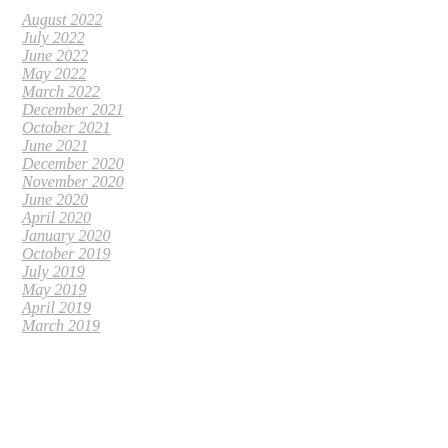August 2022
July 2022
June 2022
May 2022
March 2022
December 2021
October 2021
June 2021
December 2020
November 2020
June 2020
April 2020
January 2020
October 2019
July 2019
May 2019
April 2019
March 2019